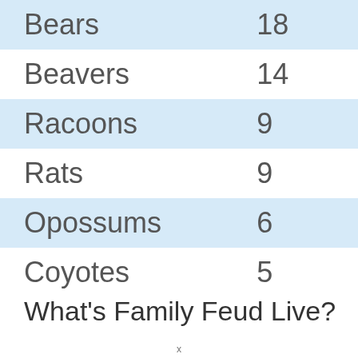| Bears | 18 |
| Beavers | 14 |
| Racoons | 9 |
| Rats | 9 |
| Opossums | 6 |
| Coyotes | 5 |
What's Family Feud Live?
x